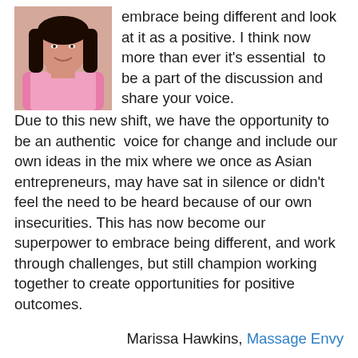[Figure (photo): Woman in pink blazer with long dark hair, smiling, hand near chin]
embrace being different and look at it as a positive. I think now more than ever it's essential  to be a part of the discussion and share your voice. Due to this new shift, we have the opportunity to be an authentic  voice for change and include our own ideas in the mix where we once as Asian entrepreneurs, may have sat in silence or didn't feel the need to be heard because of our own insecurities. This has now become our superpower to embrace being different, and work through challenges, but still champion working together to create opportunities for positive outcomes.
Marissa Hawkins, Massage Envy